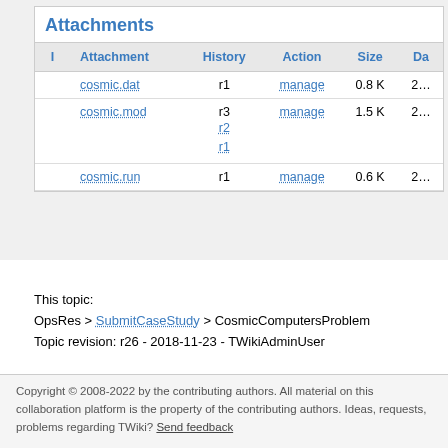Attachments
| I | Attachment | History | Action | Size | Da |
| --- | --- | --- | --- | --- | --- |
|  | cosmic.dat | r1 | manage | 0.8 K | 2… |
|  | cosmic.mod | r3 r2 r1 | manage | 1.5 K | 2… |
|  | cosmic.run | r1 | manage | 0.6 K | 2… |
This topic:
OpsRes > SubmitCaseStudy > CosmicComputersProblem
Topic revision: r26 - 2018-11-23 - TWikiAdminUser
Copyright © 2008-2022 by the contributing authors. All material on this collaboration platform is the property of the contributing authors. Ideas, requests, problems regarding TWiki? Send feedback